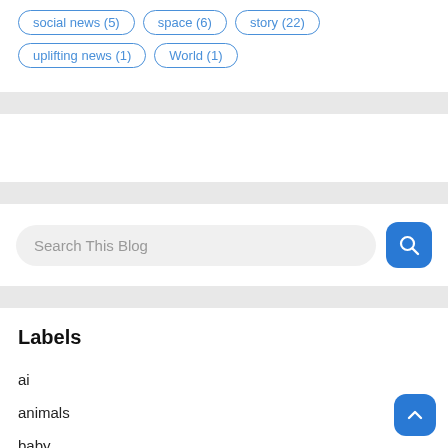social news (5)
space (6)
story (22)
uplifting news (1)
World (1)
[Figure (screenshot): Search This Blog input field with blue search button]
Labels
ai
animals
baby
black holes